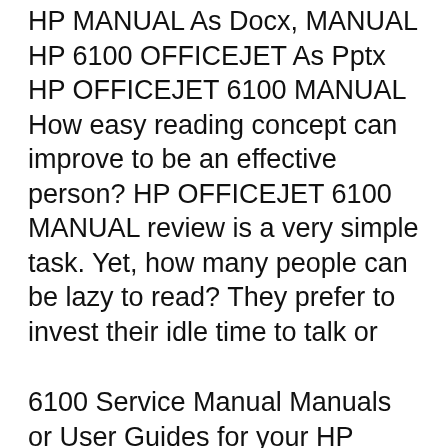HP MANUAL As Docx, MANUAL HP 6100 OFFICEJET As Pptx HP OFFICEJET 6100 MANUAL How easy reading concept can improve to be an effective person? HP OFFICEJET 6100 MANUAL review is a very simple task. Yet, how many people can be lazy to read? They prefer to invest their idle time to talk or
6100 Service Manual Manuals or User Guides for your HP Officejet 6100 ePrinter - H611a. HP Support Solutions Framework - Windows Service, localhost Web server, and Software. Download Printers User's Manual of HP 6100 series all-in-one for free. HP 6100 series all-in-one Manual Service Manual: (322 pages). HP 6100 Manual. 18.99MB HP